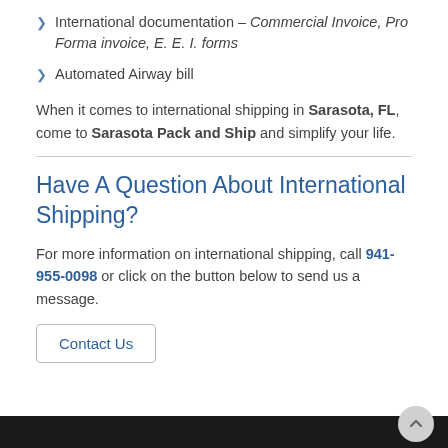International documentation – Commercial Invoice, Pro Forma invoice, E. E. I. forms
Automated Airway bill
When it comes to international shipping in Sarasota, FL, come to Sarasota Pack and Ship and simplify your life.
Have A Question About International Shipping?
For more information on international shipping, call 941-955-0098 or click on the button below to send us a message.
Contact Us